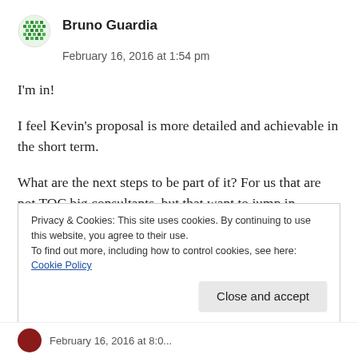[Figure (illustration): Green pixelated/dotted circular avatar icon for user Bruno Guardia]
Bruno Guardia
February 16, 2016 at 1:54 pm
I'm in!
I feel Kevin's proposal is more detailed and achievable in the short term.
What are the next steps to be part of it? For us that are not TOC big consultants, but that want to jump in.
Privacy & Cookies: This site uses cookies. By continuing to use this website, you agree to their use.
To find out more, including how to control cookies, see here: Cookie Policy
Close and accept